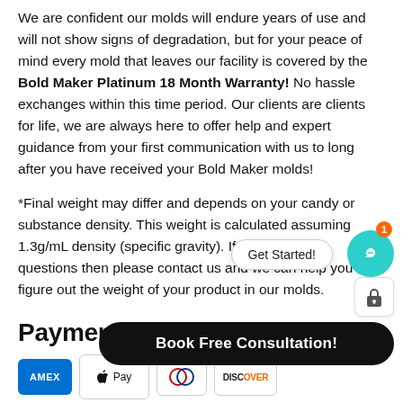We are confident our molds will endure years of use and will not show signs of degradation, but for your peace of mind every mold that leaves our facility is covered by the Bold Maker Platinum 18 Month Warranty! No hassle exchanges within this time period. Our clients are clients for life, we are always here to offer help and expert guidance from your first communication with us to long after you have received your Bold Maker molds!
*Final weight may differ and depends on your candy or substance density. This weight is calculated assuming 1.3g/mL density (specific gravity). If you have any questions then please contact us and we can help you figure out the weight of your product in our molds.
Payment & Security
[Figure (other): Payment method icons: American Express (AMEX), Apple Pay, Diners Club, Discover]
[Figure (other): UI overlay: Get Started! button, teal chat support icon with notification badge showing 1, lock icon, and black Book Free Consultation! button]